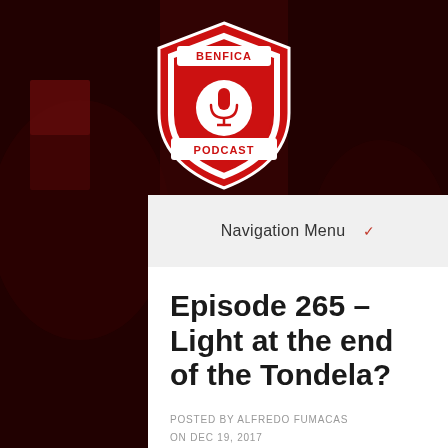[Figure (logo): Benfica Podcast shield logo with microphone icon, red and white colors, text BENFICA on top banner and PODCAST on bottom banner]
Navigation Menu ✓
Episode 265 – Light at the end of the Tondela?
POSTED BY ALFREDO FUMACAS
ON DEC 19, 2017